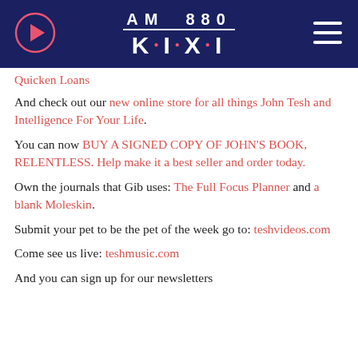AM 880 K·I·X·I
Quicken Loans
And check out our new online store for all things John Tesh and Intelligence For Your Life.
You can now BUY A SIGNED COPY OF JOHN'S BOOK, RELENTLESS. Help make it a best seller and order today.
Own the journals that Gib uses: The Full Focus Planner and a blank Moleskin.
Submit your pet to be the pet of the week go to: teshvideos.com
Come see us live: teshmusic.com
And you can sign up for our newsletters